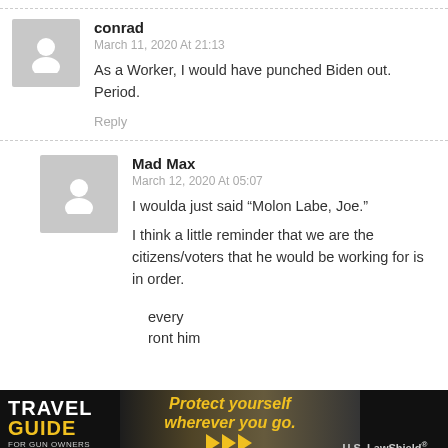conrad
March 11, 2020 At 21:13
As a Worker, I would have punched Biden out. Period.
Reply
Mad Max
March 12, 2020 At 05:07
I woulda just said “Molon Labe, Joe.”
I think a little reminder that we are the citizens/voters that he would be working for is in order.
[Figure (photo): Advertisement banner: Travel Guide for Gun Owners - Protect yourself wherever you go - U.S. LawShield]
every
ront him